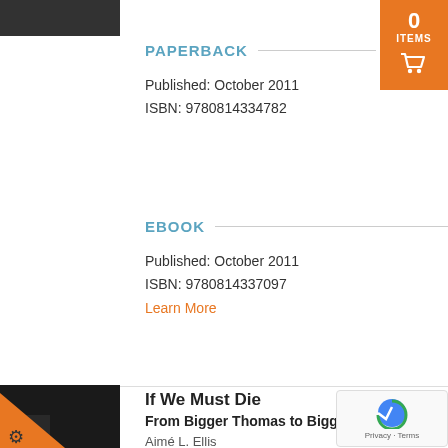[Figure (photo): Partial book cover image at top left]
[Figure (infographic): Shopping cart badge showing 0 items in orange]
PAPERBACK
Published: October 2011
ISBN: 9780814334782
EBOOK
Published: October 2011
ISBN: 9780814337097
Learn More
[Figure (photo): Partial book cover for 'If We Must Die' with dark background and orange triangle with gear icon]
If We Must Die
From Bigger Thomas to Biggie Smalls
Aimé L. Ellis
[Figure (other): reCAPTCHA badge with Privacy and Terms links]